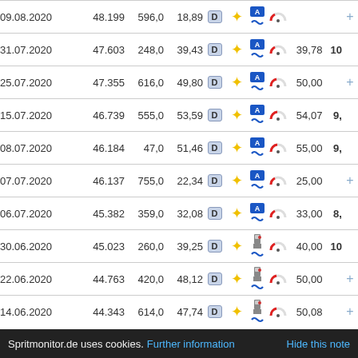| Date | Odometer | km | L/100 | D | Sun | Icons | Gauge | Value | Extra | + |
| --- | --- | --- | --- | --- | --- | --- | --- | --- | --- | --- |
| 09.08.2020 | 48.199 | 596,0 | 18,89 | D | * | autobahn+road | gauge |  |  | + |
| 31.07.2020 | 47.603 | 248,0 | 39,43 | D | * | autobahn+road | gauge | 39,78 | 10 |  |
| 25.07.2020 | 47.355 | 616,0 | 49,80 | D | * | autobahn+road | gauge | 50,00 |  | + |
| 15.07.2020 | 46.739 | 555,0 | 53,59 | D | * | autobahn+road | gauge | 54,07 | 9, |  |
| 08.07.2020 | 46.184 | 47,0 | 51,46 | D | * | autobahn+road | gauge | 55,00 | 9, |  |
| 07.07.2020 | 46.137 | 755,0 | 22,34 | D | * | autobahn+road | gauge | 25,00 |  | + |
| 06.07.2020 | 45.382 | 359,0 | 32,08 | D | * | autobahn+road | gauge | 33,00 | 8, |  |
| 30.06.2020 | 45.023 | 260,0 | 39,25 | D | * | gas+road | gauge | 40,00 | 10 |  |
| 22.06.2020 | 44.763 | 420,0 | 48,12 | D | * | gas+road | gauge | 50,00 |  | + |
| 14.06.2020 | 44.343 | 614,0 | 47,74 | D | * | gas+road | gauge | 50,08 |  | + |
Spritmonitor.de uses cookies. Further information   Hide this note